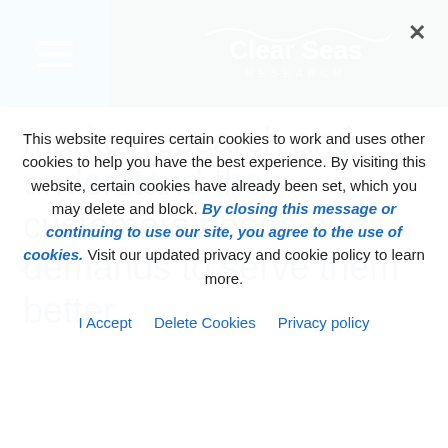[Figure (screenshot): Clear Seas Research website navigation bar with hamburger menu icon on the left, Clear Seas Research logo in the center-left dark area, and user/phone/cart/search icons on blue right section.]
market research and understand their customers needs and demands to serve them better.
This website requires certain cookies to work and uses other cookies to help you have the best experience. By visiting this website, certain cookies have already been set, which you may delete and block. By closing this message or continuing to use our site, you agree to the use of cookies. Visit our updated privacy and cookie policy to learn more.
I Accept   Delete Cookies   Privacy policy